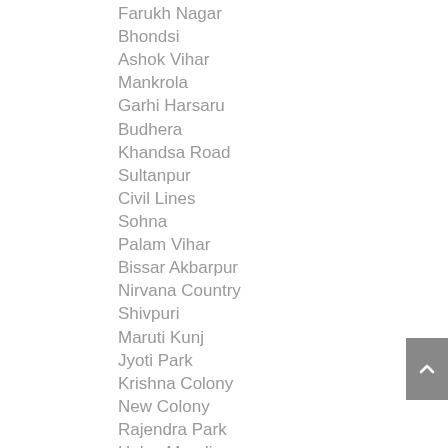Farukh Nagar
Bhondsi
Ashok Vihar
Mankrola
Garhi Harsaru
Budhera
Khandsa Road
Sultanpur
Civil Lines
Sohna
Palam Vihar
Bissar Akbarpur
Nirvana Country
Shivpuri
Maruti Kunj
Jyoti Park
Krishna Colony
New Colony
Rajendra Park
Haley Mandi
Pawala Khusrupur
Palam Farms
IFFCO Chowk Gurugram
Sikanderpur